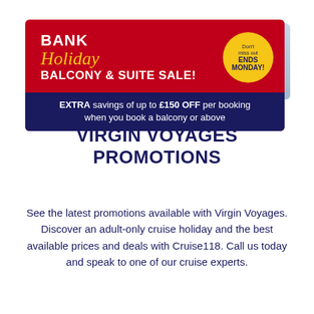[Figure (infographic): Bank Holiday Balcony & Suite Sale promotional banner on red background with dark navy bottom strip. Yellow script 'Holiday' text. Yellow circular badge reading 'Don't miss out ENDS MONDAY!'. Text: EXTRA savings of up to £150 OFF per booking when you book a balcony or above.]
VIRGIN VOYAGES PROMOTIONS
See the latest promotions available with Virgin Voyages. Discover an adult-only cruise holiday and the best available prices and deals with Cruise118. Call us today and speak to one of our cruise experts.